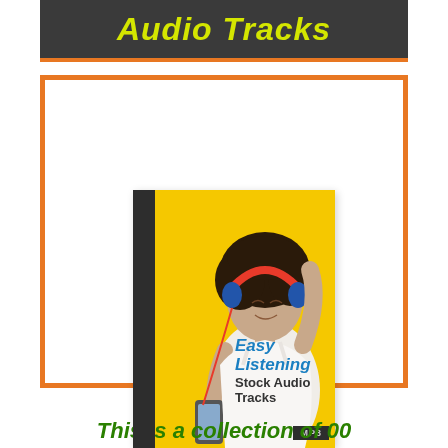Audio Tracks
[Figure (photo): Product image of Easy Listening Stock Audio Tracks CD/MP3 collection, showing a woman with red headphones against a yellow background, with the text 'Easy Listening Stock Audio Tracks MP3']
This is a collection of 00